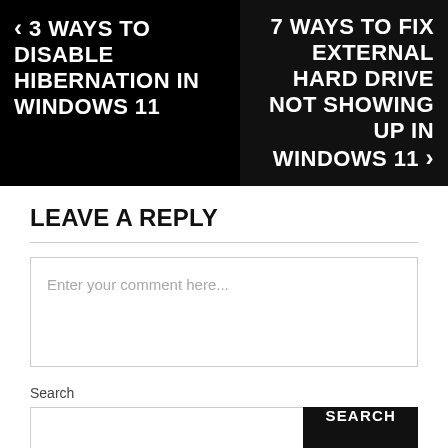< 3 WAYS TO DISABLE HIBERNATION IN WINDOWS 11
7 WAYS TO FIX EXTERNAL HARD DRIVE NOT SHOWING UP IN WINDOWS 11 >
LEAVE A REPLY
Enter your comment here...
Search
SEARCH
Recent Posts